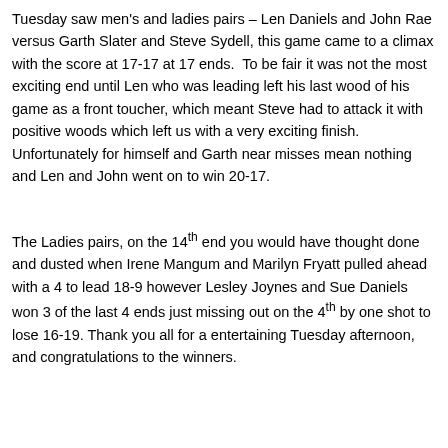Tuesday saw men's and ladies pairs – Len Daniels and John Rae versus Garth Slater and Steve Sydell, this game came to a climax with the score at 17-17 at 17 ends.  To be fair it was not the most exciting end until Len who was leading left his last wood of his game as a front toucher, which meant Steve had to attack it with positive woods which left us with a very exciting finish.  Unfortunately for himself and Garth near misses mean nothing and Len and John went on to win 20-17.
The Ladies pairs, on the 14th end you would have thought done and dusted when Irene Mangum and Marilyn Fryatt pulled ahead with a 4 to lead 18-9 however Lesley Joynes and Sue Daniels won 3 of the last 4 ends just missing out on the 4th by one shot to lose 16-19. Thank you all for a entertaining Tuesday afternoon, and congratulations to the winners.